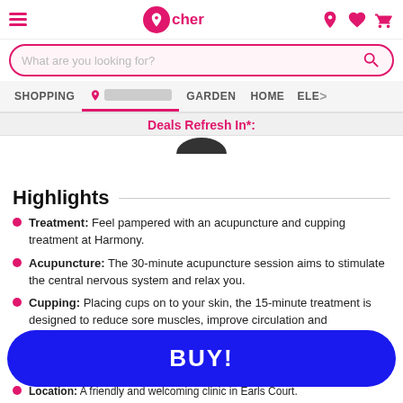Wowcher app header with hamburger menu, logo, location, wishlist, and cart icons
What are you looking for?
SHOPPING | [location] | GARDEN | HOME | ELE >
Deals Refresh In*:
Highlights
Treatment: Feel pampered with an acupuncture and cupping treatment at Harmony.
Acupuncture: The 30-minute acupuncture session aims to stimulate the central nervous system and relax you.
Cupping: Placing cups on to your skin, the 15-minute treatment is designed to reduce sore muscles, improve circulation and
Location: A friendly and welcoming clinic in Earls Court.
BUY!